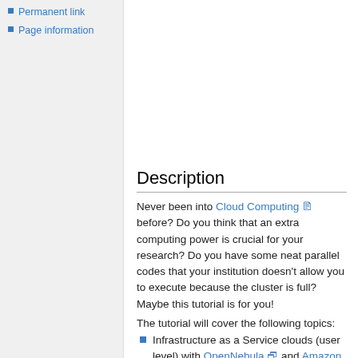Permanent link
Page information
Description
Never been into Cloud Computing before? Do you think that an extra computing power is crucial for your research? Do you have some neat parallel codes that your institution doesn't allow you to execute because the cluster is full? Maybe this tutorial is for you!
The tutorial will cover the following topics:
Infrastructure as a Service clouds (user level) with OpenNebula and Amazon EC2.
Virtual Clusters on cloud with StarCluster.